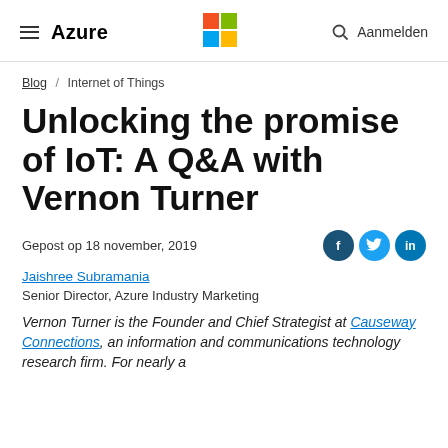Azure — Microsoft — Aanmelden
Blog / Internet of Things
Unlocking the promise of IoT: A Q&A with Vernon Turner
Gepost op 18 november, 2019
Jaishree Subramania
Senior Director, Azure Industry Marketing
Vernon Turner is the Founder and Chief Strategist at Causeway Connections, an information and communications technology research firm. For nearly a